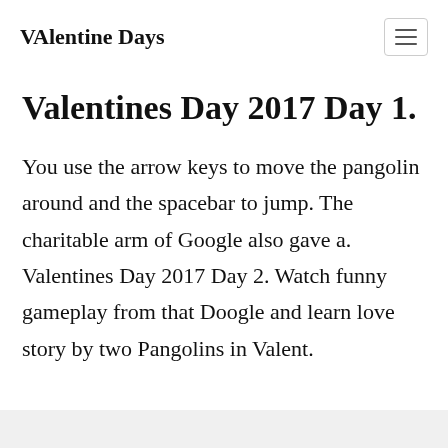VAlentine Days
Valentines Day 2017 Day 1.
You use the arrow keys to move the pangolin around and the spacebar to jump. The charitable arm of Google also gave a. Valentines Day 2017 Day 2. Watch funny gameplay from that Doogle and learn love story by two Pangolins in Valent.